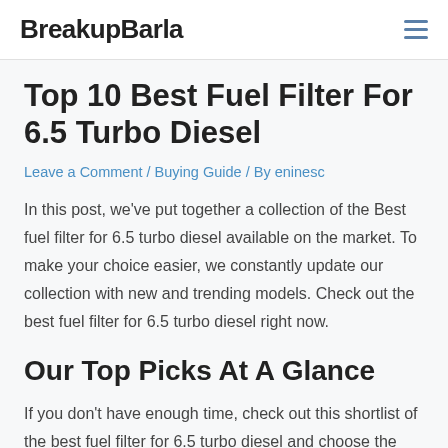BreakupBarla
Top 10 Best Fuel Filter For 6.5 Turbo Diesel
Leave a Comment / Buying Guide / By eninesc
In this post, we've put together a collection of the Best fuel filter for 6.5 turbo diesel available on the market. To make your choice easier, we constantly update our collection with new and trending models. Check out the best fuel filter for 6.5 turbo diesel right now.
Our Top Picks At A Glance
If you don't have enough time, check out this shortlist of the best fuel filter for 6.5 turbo diesel and choose the one you like the most.